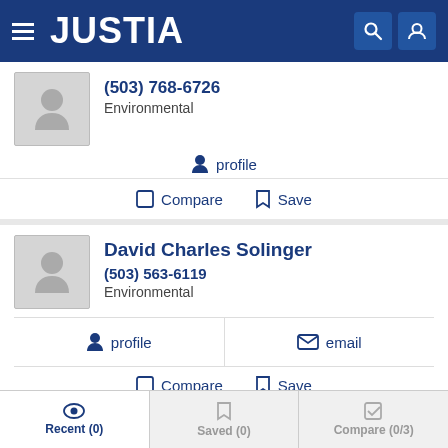JUSTIA
(503) 768-6726
Environmental
profile
Compare  Save
David Charles Solinger
(503) 563-6119
Environmental
profile   email
Compare  Save
Recent (0)  Saved (0)  Compare (0/3)